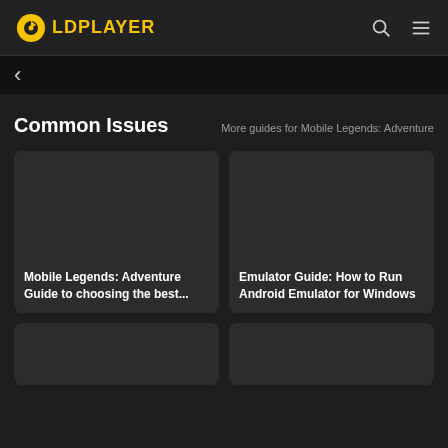LDPLAYER
<
Common Issues
More guides for Mobile Legends: Adventure
[Figure (screenshot): Dark placeholder image for Mobile Legends Adventure guide card]
Mobile Legends: Adventure Guide to choosing the best...
[Figure (screenshot): Dark placeholder image for Emulator Guide card]
Emulator Guide: How to Run Android Emulator for Windows
[Figure (screenshot): Dark placeholder image for bottom-left card (partially visible)]
[Figure (screenshot): Dark placeholder image for bottom-right card (partially visible)]